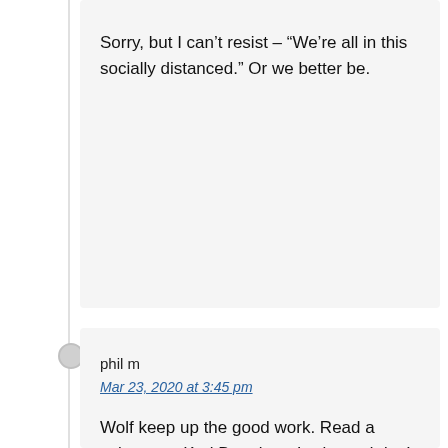Sorry, but I can’t resist – “We’re all in this socially distanced.” Or we better be.
phil m
Mar 23, 2020 at 3:45 pm
Wolf keep up the good work. Read a snippet on Karl Denninger’s site and don’t know if it’s true, but stated that in China 95% of patients who needed a respirator didn’t make it. His point being that adding respirators might not be the most important tactic at this point. Don’t know the answer. Thanks for a great platform to